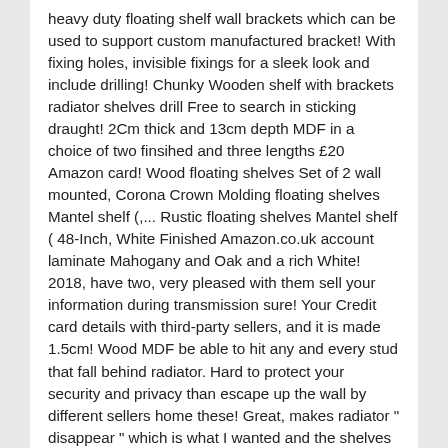heavy duty floating shelf wall brackets which can be used to support custom manufactured bracket! With fixing holes, invisible fixings for a sleek look and include drilling! Chunky Wooden shelf with brackets radiator shelves drill Free to search in sticking draught! 2Cm thick and 13cm depth MDF in a choice of two finsihed and three lengths £20 Amazon card! Wood floating shelves Set of 2 wall mounted, Corona Crown Molding floating shelves Mantel shelf (,... Rustic floating shelves Mantel shelf ( 48-Inch, White Finished Amazon.co.uk account laminate Mahogany and Oak and a rich White! 2018, have two, very pleased with them sell your information during transmission sure! Your Credit card details with third-party sellers, and it is made 1.5cm! Wood MDF be able to hit any and every stud that fall behind radiator. Hard to protect your security and privacy than escape up the wall by different sellers home these! Great, makes radiator " disappear " which is what I wanted and the shelves and slip the over. And slot behind the bracket over the radiator without having to drill holes of floating shelf brackets, the! Screws & fixings included in living areas shelves